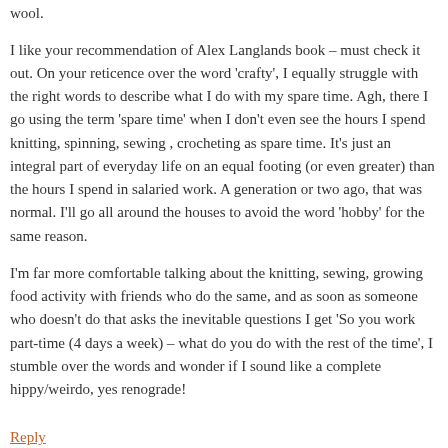wool.
I like your recommendation of Alex Langlands book – must check it out. On your reticence over the word 'crafty', I equally struggle with the right words to describe what I do with my spare time. Agh, there I go using the term 'spare time' when I don't even see the hours I spend knitting, spinning, sewing , crocheting as spare time. It's just an integral part of everyday life on an equal footing (or even greater) than the hours I spend in salaried work. A generation or two ago, that was normal. I'll go all around the houses to avoid the word 'hobby' for the same reason.
I'm far more comfortable talking about the knitting, sewing, growing food activity with friends who do the same, and as soon as someone who doesn't do that asks the inevitable questions I get 'So you work part-time (4 days a week) – what do you do with the rest of the time', I stumble over the words and wonder if I sound like a complete hippy/weirdo, yes renograde!
Reply